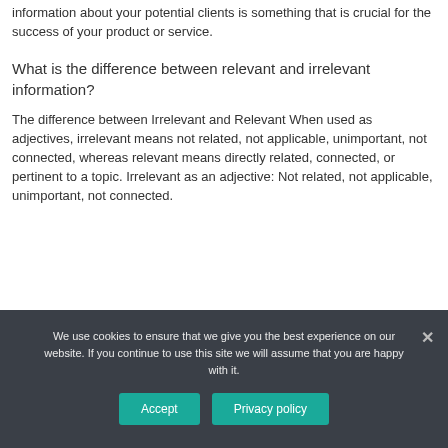information about your potential clients is something that is crucial for the success of your product or service.
What is the difference between relevant and irrelevant information?
The difference between Irrelevant and Relevant When used as adjectives, irrelevant means not related, not applicable, unimportant, not connected, whereas relevant means directly related, connected, or pertinent to a topic. Irrelevant as an adjective: Not related, not applicable, unimportant, not connected.
We use cookies to ensure that we give you the best experience on our website. If you continue to use this site we will assume that you are happy with it.